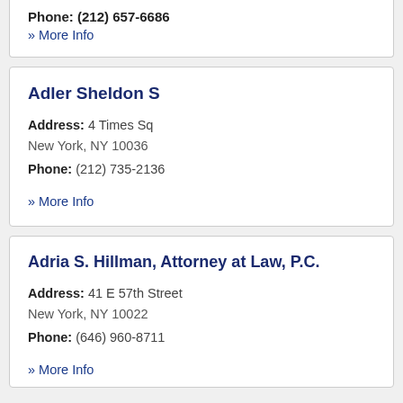Phone: (212) 657-6686
» More Info
Adler Sheldon S
Address: 4 Times Sq
New York, NY 10036
Phone: (212) 735-2136
» More Info
Adria S. Hillman, Attorney at Law, P.C.
Address: 41 E 57th Street
New York, NY 10022
Phone: (646) 960-8711
» More Info